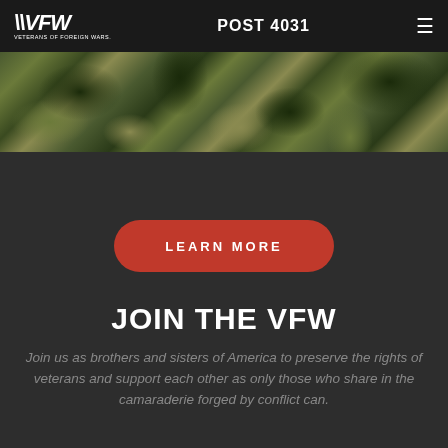VFW VETERANS OF FOREIGN WARS | POST 4031
[Figure (photo): Camouflage fabric pattern band in green, tan, and dark brown tones]
LEARN MORE
JOIN THE VFW
Join us as brothers and sisters of America to preserve the rights of veterans and support each other as only those who share in the camaraderie forged by conflict can.